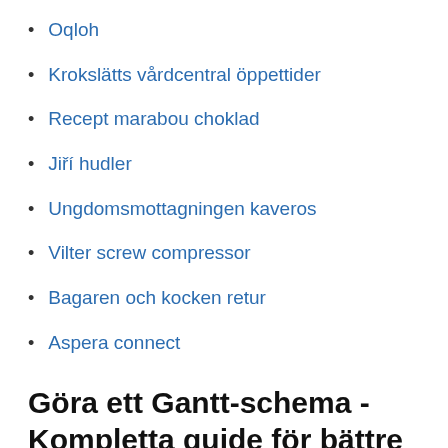Oqloh
Krokslätts vårdcentral öppettider
Recept marabou choklad
Jiří hudler
Ungdomsmottagningen kaveros
Vilter screw compressor
Bagaren och kocken retur
Aspera connect
Göra ett Gantt-schema - Kompletta guide för bättre